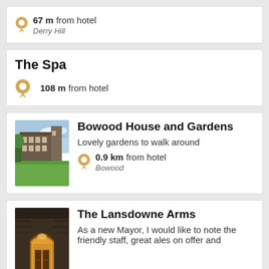67 m from hotel
Derry Hill
The Spa
108 m from hotel
Bowood House and Gardens
Lovely gardens to walk around
0.9 km from hotel
Bowood
[Figure (photo): Photo of Bowood House and Gardens showing a large historic house with green lawn in foreground]
The Lansdowne Arms
As a new Mayor, I would like to note the friendly staff, great ales on offer and
[Figure (photo): Photo of The Lansdowne Arms showing a stone building entrance with warm interior lighting at dusk]